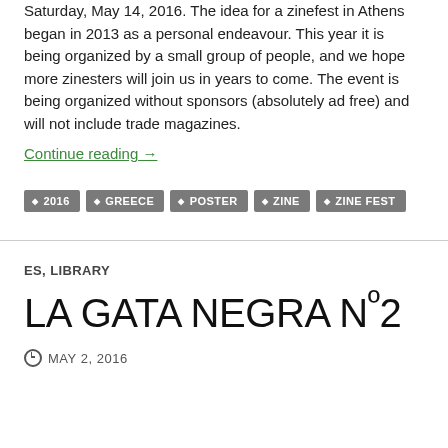Saturday, May 14, 2016. The idea for a zinefest in Athens began in 2013 as a personal endeavour. This year it is being organized by a small group of people, and we hope more zinesters will join us in years to come. The event is being organized without sponsors (absolutely ad free) and will not include trade magazines.
Continue reading →
2016
GREECE
POSTER
ZINE
ZINE FEST
ES, LIBRARY
LA GATA NEGRA Nº2
MAY 2, 2016